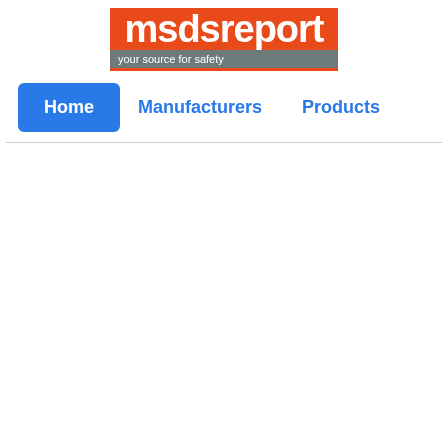[Figure (logo): msdsreport logo — orange background with white bold text 'msds' and 'report', grey tagline bar reading 'your source for safety' with orange bottom border]
Home  Manufacturers  Products